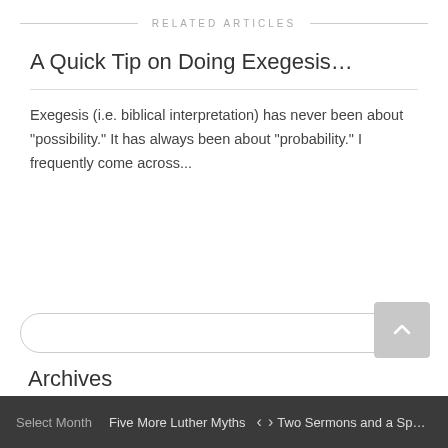RELATED ARTICLES
A Quick Tip on Doing Exegesis…
Exegesis (i.e. biblical interpretation) has never been about "possibility." It has always been about "probability." I frequently come across...
Archives
Select Month   Five More Luther Myths   < >   Two Sermons and a Spurgeon Thou…